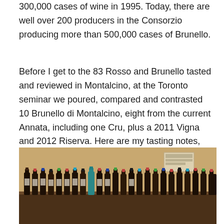300,000 cases of wine in 1995. Today, there are well over 200 producers in the Consorzio producing more than 500,000 cases of Brunello.
Before I get to the 83 Rosso and Brunello tasted and reviewed in Montalcino, at the Toronto seminar we poured, compared and contrasted 10 Brunello di Montalcino, eight from the current Annata, including one Cru, plus a 2011 Vigna and 2012 Riserva. Here are my tasting notes, replete with background information on those 10 wines.
[Figure (photo): Photo of many wine bottles lined up on a shelf or table in front of a warm tan/ochre wall, viewed from a slight angle. A small sign is visible on the upper right area of the wall.]